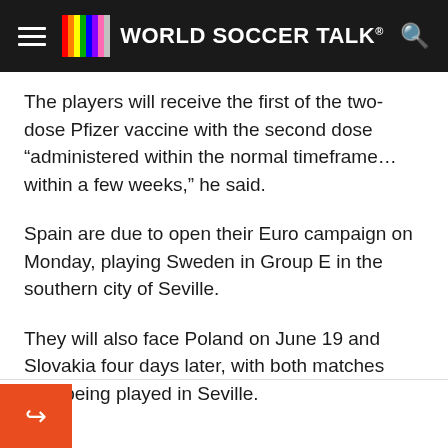WORLD SOCCER TALK
The players will receive the first of the two-dose Pfizer vaccine with the second dose “administered within the normal timeframe… within a few weeks,” he said.
Spain are due to open their Euro campaign on Monday, playing Sweden in Group E in the southern city of Seville.
They will also face Poland on June 19 and Slovakia four days later, with both matches also being played in Seville.